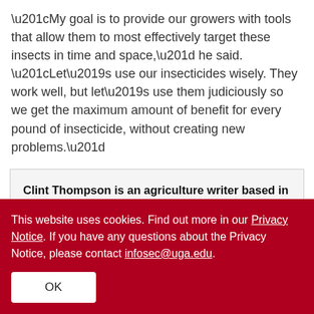“My goal is to provide our growers with tools that allow them to most effectively target these insects in time and space,” he said. “Let’s use our insecticides wisely. They work well, but let’s use them judiciously so we get the maximum amount of benefit for every pound of insecticide, without creating new problems.”
Clint Thompson is an agriculture writer based in Tifton, Georgia.
This website uses cookies. Find out more in our Privacy Notice. If you have any questions about the Privacy Notice, please contact infosec@uga.edu.